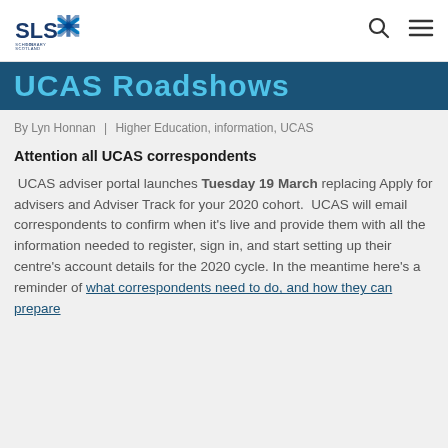SLS logo with search and menu icons
UCAS Roadshows
By Lyn Honnan | Higher Education, information, UCAS
Attention all UCAS correspondents
UCAS adviser portal launches Tuesday 19 March replacing Apply for advisers and Adviser Track for your 2020 cohort.  UCAS will email correspondents to confirm when it's live and provide them with all the information needed to register, sign in, and start setting up their centre's account details for the 2020 cycle. In the meantime here's a reminder of what correspondents need to do, and how they can prepare